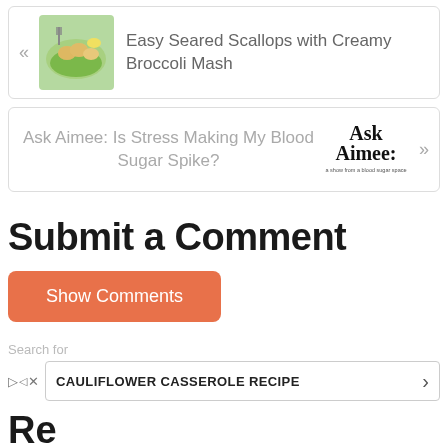[Figure (photo): Navigation card with a photo of seared scallops on creamy broccoli mash with a left arrow and the title 'Easy Seared Scallops with Creamy Broccoli Mash']
[Figure (other): Navigation card for 'Ask Aimee: Is Stress Making My Blood Sugar Spike?' with the Ask Aimee logo and a right arrow]
Submit a Comment
Show Comments
Search for
CAULIFLOWER CASSEROLE RECIPE